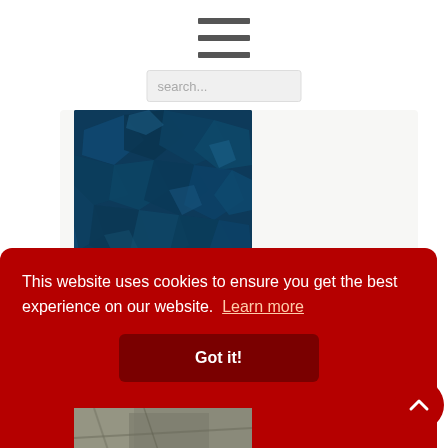[Figure (other): Hamburger menu icon with three horizontal bars]
[Figure (other): Search input box with placeholder text 'search...']
[Figure (photo): Dark blue crystalline mineral/chemical product photo (Brise AC)]
Technical information
Brise AC
This website uses cookies to ensure you get the best experience on our website. Learn more
Got it!
[Figure (photo): Partially visible second product photo at bottom of page]